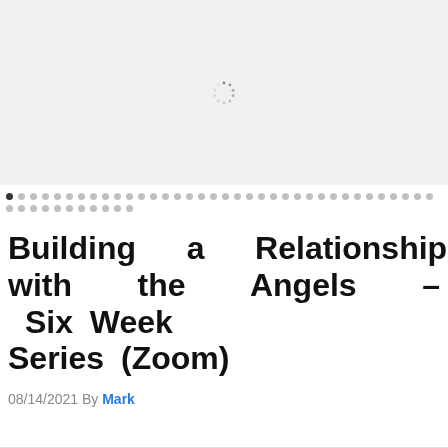[Figure (screenshot): Loading spinner icon centered on a light gray background, representing an image carousel slide that is still loading.]
Carousel pagination dots — one filled dark dot followed by many light gray dots in two rows
Building a Relationship with the Angels – Six Week Series (Zoom)
08/14/2021 By Mark